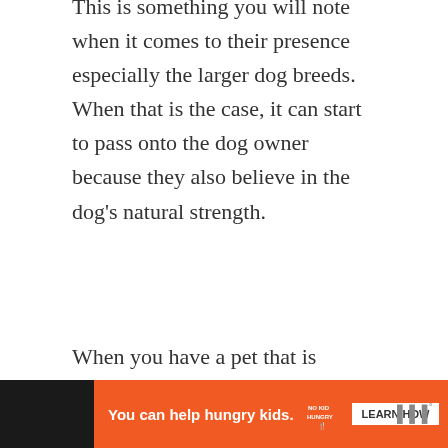This is something you will note when it comes to their presence especially the larger dog breeds. When that is the case, it can start to pass onto the dog owner because they also believe in the dog's natural strength.
When you have a pet that is strong right beside you, it can fill a person with confidence. The same applies to a big dog.
The dog's strength can send a jolt of confidence through the dog owner's body and that is what leads to arrogance.
[Figure (other): Orange advertisement banner reading 'You can help hungry kids.' with No Kid Hungry logo and 'LEARN HOW' button, on a dark background bar at the bottom of the page.]